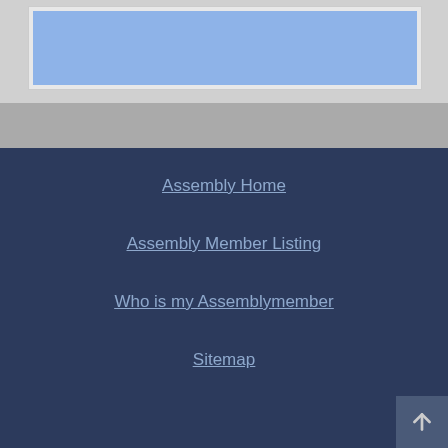[Figure (screenshot): Top portion of a government assembly webpage showing a light blue content area within a gray frame]
Assembly Home
Assembly Member Listing
Who is my Assemblymember
Sitemap